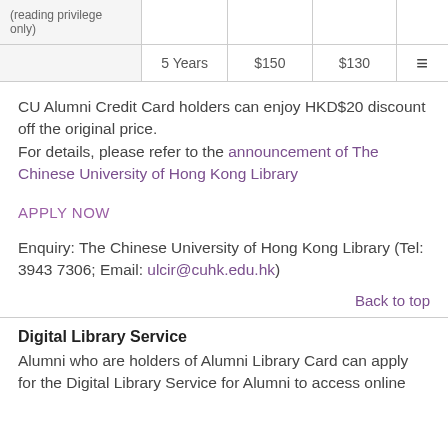|  | 5 Years | $150 | $130 | ≡ |
| --- | --- | --- | --- | --- |
| (reading privilege only) | 5 Years | $150 | $130 | ≡ |
CU Alumni Credit Card holders can enjoy HKD$20 discount off the original price.
For details, please refer to the announcement of The Chinese University of Hong Kong Library
APPLY NOW
Enquiry: The Chinese University of Hong Kong Library (Tel: 3943 7306; Email: ulcir@cuhk.edu.hk)
Back to top
Digital Library Service
Alumni who are holders of Alumni Library Card can apply for the Digital Library Service for Alumni to access online...